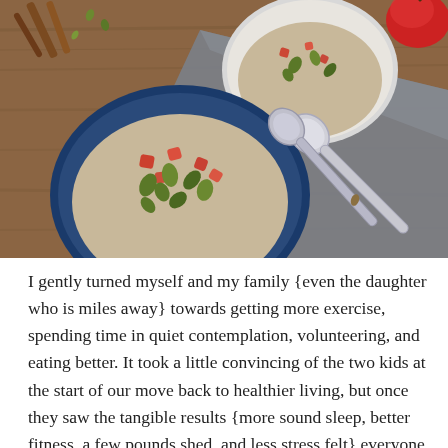[Figure (photo): Overhead view of two bowls of oatmeal/porridge topped with diced red apple and pumpkin seeds, placed on a wooden table with a gray cloth and two silver spoons. A red apple is visible in the top right corner.]
I gently turned myself and my family {even the daughter who is miles away} towards getting more exercise, spending time in quiet contemplation, volunteering, and eating better. It took a little convincing of the two kids at the start of our move back to healthier living, but once they saw the tangible results {more sound sleep, better fitness, a few pounds shed, and less stress felt} everyone was